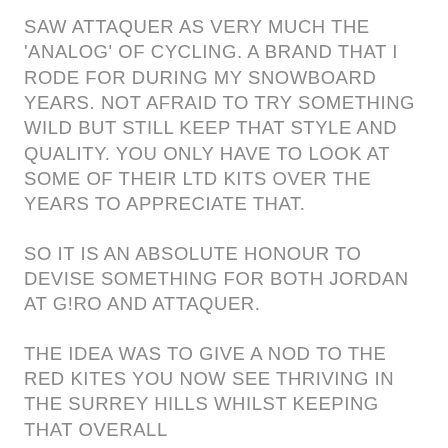SAW ATTAQUER AS VERY MUCH THE 'ANALOG' OF CYCLING. A BRAND THAT I RODE FOR DURING MY SNOWBOARD YEARS. NOT AFRAID TO TRY SOMETHING WILD BUT STILL KEEP THAT STYLE AND QUALITY. YOU ONLY HAVE TO LOOK AT SOME OF THEIR LTD KITS OVER THE YEARS TO APPRECIATE THAT.
SO IT IS AN ABSOLUTE HONOUR TO DEVISE SOMETHING FOR BOTH JORDAN AT G!RO AND ATTAQUER.
THE IDEA WAS TO GIVE A NOD TO THE RED KITES YOU NOW SEE THRIVING IN THE SURREY HILLS WHILST KEEPING THAT OVERALL